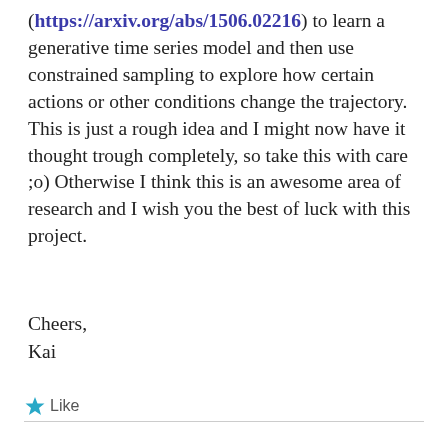(https://arxiv.org/abs/1506.02216) to learn a generative time series model and then use constrained sampling to explore how certain actions or other conditions change the trajectory. This is just a rough idea and I might now have it thought trough completely, so take this with care ;o) Otherwise I think this is an awesome area of research and I wish you the best of luck with this project.
Cheers,
Kai
Like